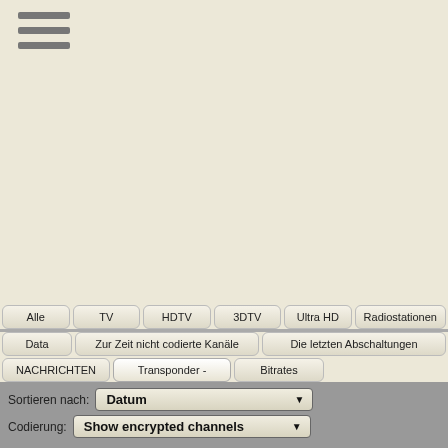[Figure (other): Hamburger menu icon with three horizontal gray bars]
Alle
TV
HDTV
3DTV
Ultra HD
Radiostationen
Data
Zur Zeit nicht codierte Kanäle
Die letzten Abschaltungen
NACHRICHTEN
Transponder -
Bitrates
Sortieren nach: Datum
Codierung: Show encrypted channels